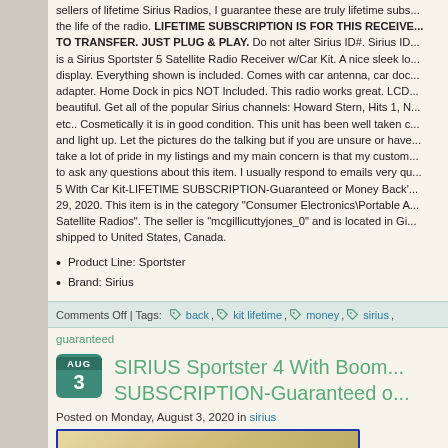sellers of lifetime Sirius Radios, I guarantee these are truly lifetime subs... the life of the radio. LIFETIME SUBSCRIPTION IS FOR THIS RECEIVE... TO TRANSFER. JUST PLUG & PLAY. Do not alter Sirius ID#. Sirius ID... is a Sirius Sportster 5 Satellite Radio Receiver w/Car Kit. A nice sleek lo... display. Everything shown is included. Comes with car antenna, car doc... adapter. Home Dock in pics NOT Included. This radio works great. LCD... beautiful. Get all of the popular Sirius channels: Howard Stern, Hits 1, N... etc.. Cosmetically it is in good condition. This unit has been well taken c... and light up. Let the pictures do the talking but if you are unsure or have... take a lot of pride in my listings and my main concern is that my custom... to ask any questions about this item. I usually respond to emails very qu... 5 With Car Kit-LIFETIME SUBSCRIPTION-Guaranteed or Money Back'... 29, 2020. This item is in the category "Consumer Electronics\Portable A... Satellite Radios". The seller is "mcgillicuttyjones_0" and is located in Gi... shipped to United States, Canada.
Product Line: Sportster
Brand: Sirius
Comments Off | Tags: back, kit lifetime, money, sirius,
guaranteed
SIRIUS Sportster 4 With Boom... SUBSCRIPTION-Guaranteed o...
Posted on Monday, August 3, 2020 in sirius
[Figure (photo): Product image preview with blue border, showing a beige/tan colored device]